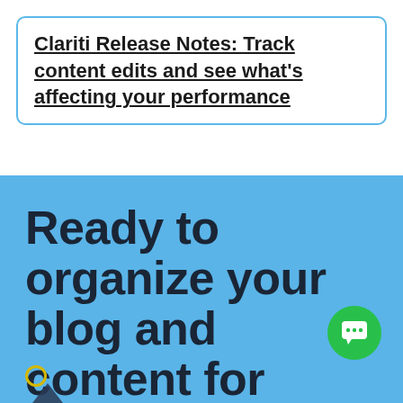Clariti Release Notes: Track content edits and see what's affecting your performance
Ready to organize your blog and content for maximum growth?
[Figure (illustration): Green circular chat button with white chat bubble icon, positioned bottom right. Yellow circle outline bottom left with upward arrow shape partially visible.]